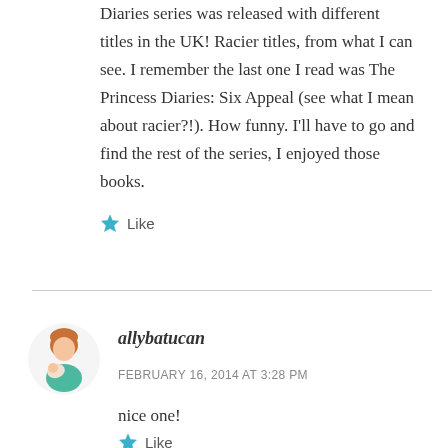Diaries series was released with different titles in the UK! Racier titles, from what I can see. I remember the last one I read was The Princess Diaries: Six Appeal (see what I mean about racier?!). How funny. I'll have to go and find the rest of the series, I enjoyed those books.
Like
allybatucan
FEBRUARY 16, 2014 AT 3:28 PM
nice one!
Like